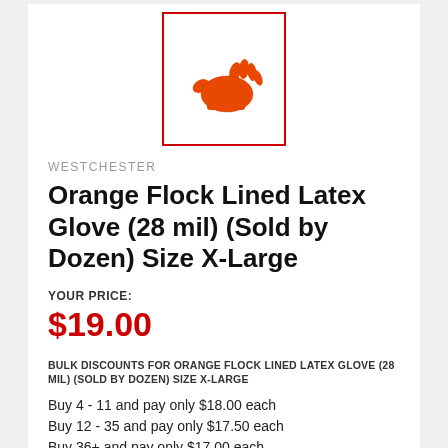[Figure (photo): Orange latex glove product image shown inside a red-bordered box]
WESTCHESTER
Orange Flock Lined Latex Glove (28 mil) (Sold by Dozen) Size X-Large
YOUR PRICE:
$19.00
BULK DISCOUNTS FOR ORANGE FLOCK LINED LATEX GLOVE (28 MIL) (SOLD BY DOZEN) SIZE X-LARGE
Buy 4 - 11 and pay only $18.00 each
Buy 12 - 35 and pay only $17.50 each
Buy 36+ and pay only $17.00 each